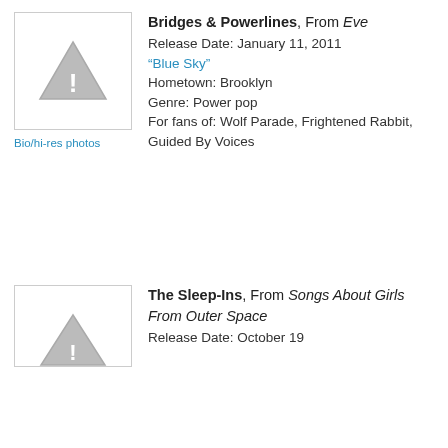[Figure (photo): Placeholder image with warning triangle icon for Bridges & Powerlines album art]
Bridges & Powerlines, From Eve
Release Date: January 11, 2011
"Blue Sky"
Hometown: Brooklyn
Genre: Power pop
For fans of: Wolf Parade, Frightened Rabbit, Guided By Voices
Bio/hi-res photos
[Figure (photo): Placeholder image with warning triangle icon for The Sleep-Ins album art]
The Sleep-Ins, From Songs About Girls From Outer Space
Release Date: October 19